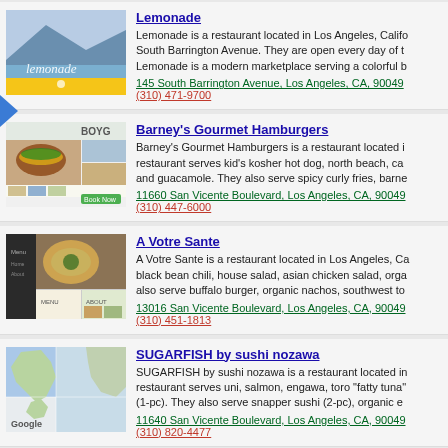[Figure (screenshot): Lemonade restaurant website thumbnail showing mountain/ocean scene with lemonade text]
Lemonade
Lemonade is a restaurant located in Los Angeles, California on 145 South Barrington Avenue. They are open every day of the week. Lemonade is a modern marketplace serving a colorful b...
145 South Barrington Avenue, Los Angeles, CA, 90049
(310) 471-9700
[Figure (screenshot): Barney's Gourmet Hamburgers restaurant website thumbnail showing burgers]
Barney's Gourmet Hamburgers
Barney's Gourmet Hamburgers is a restaurant located i... restaurant serves kid's kosher hot dog, north beach, ca... and guacamole. They also serve spicy curly fries, barne...
11660 San Vicente Boulevard, Los Angeles, CA, 90049
(310) 447-6000
[Figure (screenshot): A Votre Sante restaurant website thumbnail showing food]
A Votre Sante
A Votre Sante is a restaurant located in Los Angeles, Ca... black bean chili, house salad, asian chicken salad, orga... also serve buffalo burger, organic nachos, southwest to...
13016 San Vicente Boulevard, Los Angeles, CA, 90049
(310) 451-1813
[Figure (screenshot): SUGARFISH by sushi nozawa Google Maps thumbnail]
SUGARFISH by sushi nozawa
SUGARFISH by sushi nozawa is a restaurant located in... restaurant serves uni, salmon, engawa, toro "fatty tuna" (1-pc). They also serve snapper sushi (2-pc), organic e...
11640 San Vicente Boulevard, Los Angeles, CA, 90049
(310) 820-4477